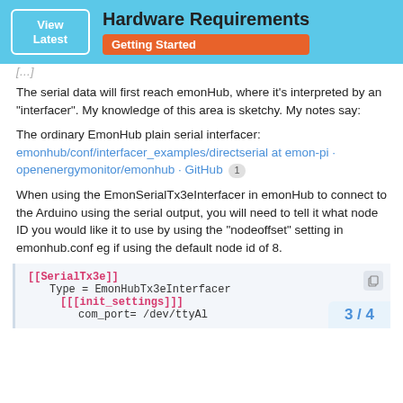Hardware Requirements | Getting Started
The serial data will first reach emonHub, where it's interpreted by an “interfacer”. My knowledge of this area is sketchy. My notes say:
The ordinary EmonHub plain serial interfacer:
emonhub/conf/interfacer_examples/directserial at emon-pi · openenergymonitor/emonhub · GitHub  1
When using the EmonSerialTx3eInterfacer in emonHub to connect to the Arduino using the serial output, you will need to tell it what node ID you would like it to use by using the “nodeoffset” setting in emonhub.conf eg if using the default node id of 8.
3 / 4